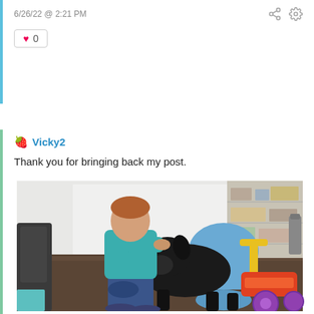6/26/22 @ 2:21 PM
♥ 0
🍓 Vicky2
Thank you for bringing back my post.
[Figure (photo): A young boy in a teal shirt crouching on a dark floor, kissing a black Labrador dog on the nose. In the background there is a colorful toy tricycle (yellow, red, orange) and shelving with items on it. A person in a blue shirt is partially visible behind the dog.]